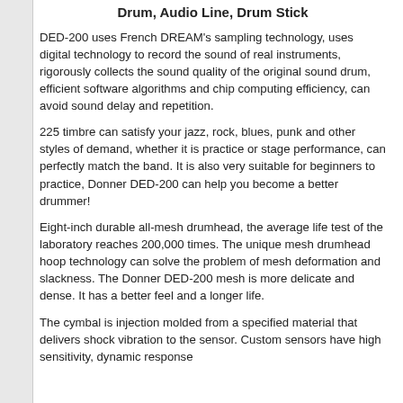Drum, Audio Line, Drum Stick
DED-200 uses French DREAM’s sampling technology, uses digital technology to record the sound of real instruments, rigorously collects the sound quality of the original sound drum, efficient software algorithms and chip computing efficiency, can avoid sound delay and repetition.
225 timbre can satisfy your jazz, rock, blues, punk and other styles of demand, whether it is practice or stage performance, can perfectly match the band. It is also very suitable for beginners to practice, Donner DED-200 can help you become a better drummer!
Eight-inch durable all-mesh drumhead, the average life test of the laboratory reaches 200,000 times. The unique mesh drumhead hoop technology can solve the problem of mesh deformation and slackness. The Donner DED-200 mesh is more delicate and dense. It has a better feel and a longer life.
The cymbal is injection molded from a specified material that delivers shock vibration to the sensor. Custom sensors have high sensitivity, dynamic response